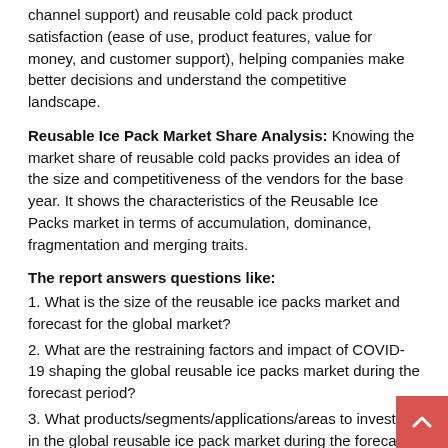channel support) and reusable cold pack product satisfaction (ease of use, product features, value for money, and customer support), helping companies make better decisions and understand the competitive landscape.
Reusable Ice Pack Market Share Analysis: Knowing the market share of reusable cold packs provides an idea of the size and competitiveness of the vendors for the base year. It shows the characteristics of the Reusable Ice Packs market in terms of accumulation, dominance, fragmentation and merging traits.
The report answers questions like:
1. What is the size of the reusable ice packs market and forecast for the global market?
2. What are the restraining factors and impact of COVID-19 shaping the global reusable ice packs market during the forecast period?
3. What products/segments/applications/areas to invest in in the global reusable ice pack market during the forecast period?
4. What are the modes and strategic moves to enter the global